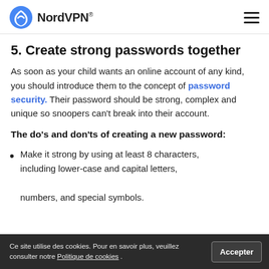NordVPN®
5. Create strong passwords together
As soon as your child wants an online account of any kind, you should introduce them to the concept of password security. Their password should be strong, complex and unique so snoopers can't break into their account.
The do's and don'ts of creating a new password:
Make it strong by using at least 8 characters, including lower-case and capital letters, numbers, and special symbols.
Ce site utilise des cookies. Pour en savoir plus, veuillez consulter notre Politique de cookies . Accepter